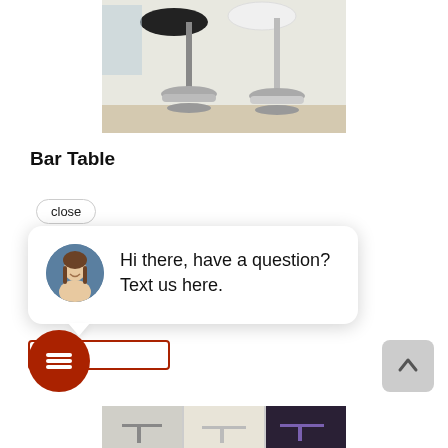[Figure (photo): Bar stools/chairs with chrome metal legs and round disc bases, two stools visible against light wall background]
Bar Table
close
[Figure (screenshot): Chat widget bubble with female avatar and message: Hi there, have a question? Text us here.]
[Figure (photo): Product image thumbnails at bottom showing bar tables]